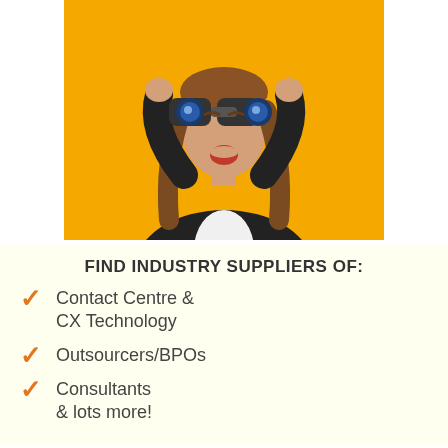[Figure (photo): Woman in black blazer holding binoculars up to her eyes with mouth open in surprise, against a bright yellow/orange background]
FIND INDUSTRY SUPPLIERS OF:
Contact Centre & CX Technology
Outsourcers/BPOs
Consultants & lots more!